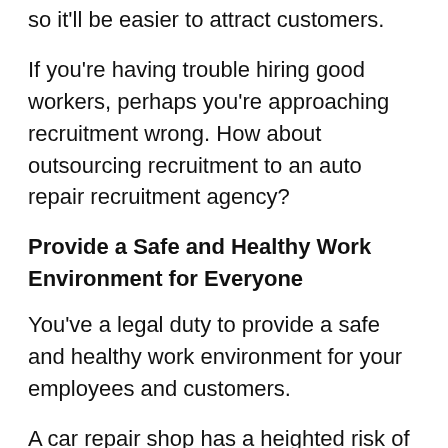looking for mechanic shops with the best reputation, so it'll be easier to attract customers.
If you're having trouble hiring good workers, perhaps you're approaching recruitment wrong. How about outsourcing recruitment to an auto repair recruitment agency?
Provide a Safe and Healthy Work Environment for Everyone
You've a legal duty to provide a safe and healthy work environment for your employees and customers.
A car repair shop has a heighted risk of accidents and injury. This is why mechanics are supposed to wear protective gear when at work.